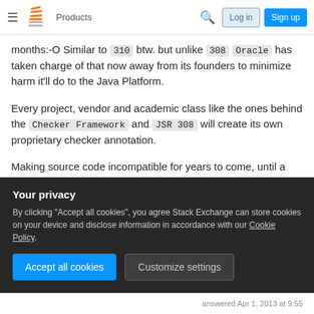Stack Overflow — Products | Log in | Sign up
months:-O Similar to 310 btw. but unlike 308 Oracle has taken charge of that now away from its founders to minimize harm it'll do to the Java Platform.
Every project, vendor and academic class like the ones behind the Checker Framework and JSR 308 will create its own proprietary checker annotation.
Making source code incompatible for years to come, until a few popular compromises could be found and ...
Your privacy
By clicking "Accept all cookies", you agree Stack Exchange can store cookies on your device and disclose information in accordance with our Cookie Policy.
Accept all cookies | Customize settings
answered Apr 1, 2013 at 9:55